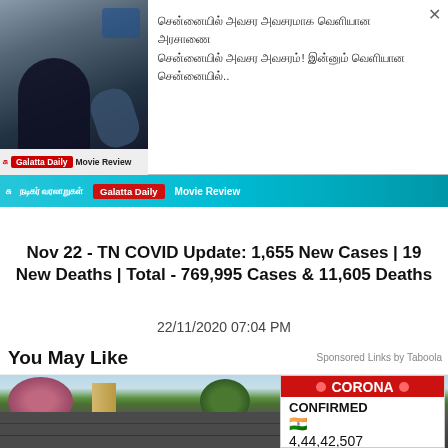[Figure (screenshot): Ad popup overlay showing a person photo on the left and Tamil language text on the right with a close button. Galatta Daily branding bar at bottom of the image.]
[Figure (screenshot): Blue colorful banner strip with Galatta Daily logo and Movie Review text]
Nov 22 - TN COVID Update: 1,655 New Cases | 19 New Deaths | Total - 769,995 Cases & 11,605 Deaths
22/11/2020 07:04 PM
You May Like
Sponsored Links by Taboola
[Figure (photo): Photo of a house rooftop with dark shingles, a brick chimney, pink flowering tree on the left, green trees in background, suburban neighborhood. Overlaid with a Corona Confirmed widget showing India flag and number 4,44,42,507 with a globe icon.]